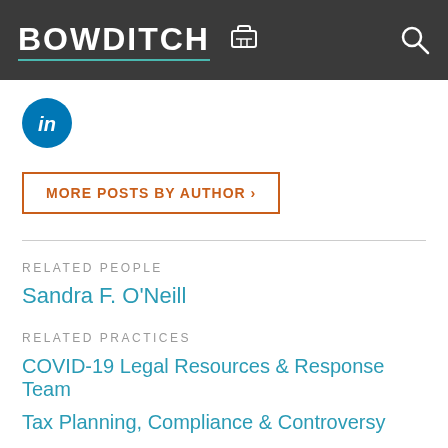BOWDITCH
[Figure (logo): LinkedIn circular blue icon with 'in' text]
MORE POSTS BY AUTHOR ›
RELATED PEOPLE
Sandra F. O'Neill
RELATED PRACTICES
COVID-19 Legal Resources & Response Team
Tax Planning, Compliance & Controversy